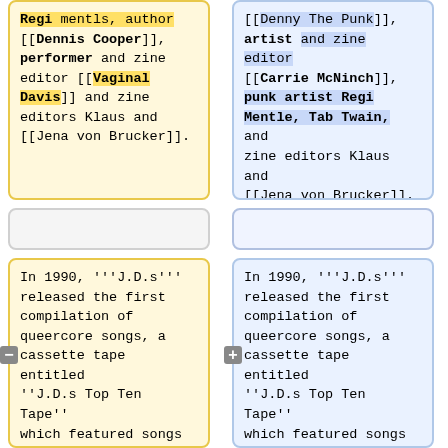[[Dennis Cooper]], performer and zine editor [[Vaginal Davis]] and zine editors Klaus and [[Jena von Brucker]].
[[Denny The Punk]], artist and zine editor [[Carrie McNinch]], punk artist Regi Mentle, Tab Twain, and zine editors Klaus and [[Jena von Brucker]].
In 1990, '''J.D.s''' released the first compilation of queercore songs, a cassette tape entitled ''J.D.s Top Ten Tape'' which featured songs by The Apostles, Academy 23, and No Brain Cells from the UK, Fifth Column from Canada, Bomb and
In 1990, '''J.D.s''' released the first compilation of queercore songs, a cassette tape entitled ''J.D.s Top Ten Tape'' which featured songs by The Apostles, Academy 23, and No Brain Cells from the UK, Fifth Column from Canada, Bomb and